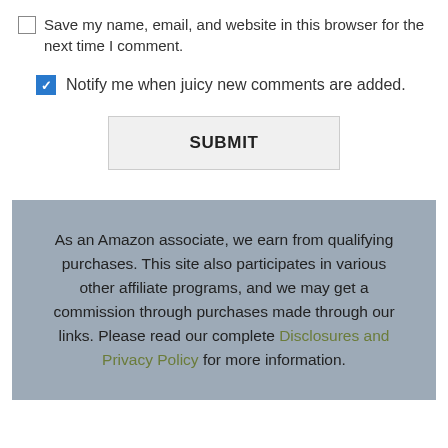Save my name, email, and website in this browser for the next time I comment.
Notify me when juicy new comments are added.
SUBMIT
As an Amazon associate, we earn from qualifying purchases. This site also participates in various other affiliate programs, and we may get a commission through purchases made through our links. Please read our complete Disclosures and Privacy Policy for more information.